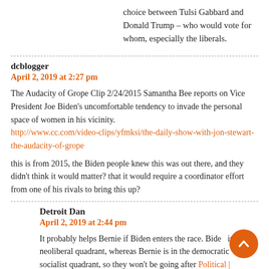choice between Tulsi Gabbard and Donald Trump – who would vote for whom, especially the liberals.
dcblogger
April 2, 2019 at 2:27 pm
The Audacity of Grope Clip 2/24/2015 Samantha Bee reports on Vice President Joe Biden's uncomfortable tendency to invade the personal space of women in his vicinity. http://www.cc.com/video-clips/yfmksi/the-daily-show-with-jon-stewart-the-audacity-of-grope
this is from 2015, the Biden people knew this was out there, and they didn't think it would matter? that it would require a coordinator effort from one of his rivals to bring this up?
Detroit Dan
April 2, 2019 at 2:44 pm
It probably helps Bernie if Biden enters the race. Biden is in the neoliberal quadrant, whereas Bernie is in the democratic socialist quadrant, so they won't be going after the same voters. I... Political Democratic Socialist...